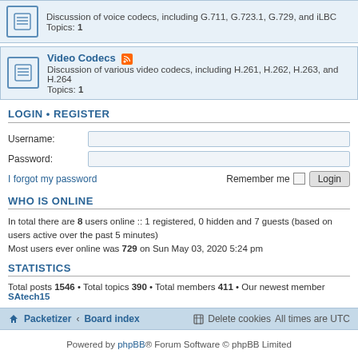Discussion of voice codecs, including G.711, G.723.1, G.729, and iLBC
Topics: 1
Video Codecs - Discussion of various video codecs, including H.261, H.262, H.263, and H.264
Topics: 1
LOGIN • REGISTER
Username:
Password:
I forgot my password    Remember me  Login
WHO IS ONLINE
In total there are 8 users online :: 1 registered, 0 hidden and 7 guests (based on users active over the past 5 minutes)
Most users ever online was 729 on Sun May 03, 2020 5:24 pm
STATISTICS
Total posts 1546 • Total topics 390 • Total members 411 • Our newest member SAtech15
Packetizer • Board index    Delete cookies   All times are UTC
Powered by phpBB® Forum Software © phpBB Limited
Copyright © 2022 • Packetizer, Inc.
Privacy | Terms